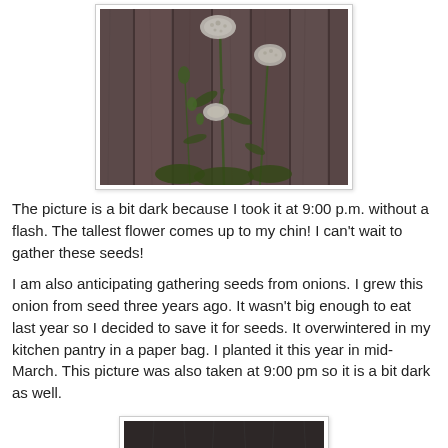[Figure (photo): Photo of white flowers (Queen Anne's Lace or similar) with green stems and leaves against a weathered wooden fence/wall background. Photo has a slight dark tone. Displayed in a white bordered frame.]
The picture is a bit dark because I took it at 9:00 p.m. without a flash. The tallest flower comes up to my chin! I can't wait to gather these seeds!
I am also anticipating gathering seeds from onions. I grew this onion from seed three years ago. It wasn't big enough to eat last year so I decided to save it for seeds. It overwintered in my kitchen pantry in a paper bag. I planted it this year in mid-March. This picture was also taken at 9:00 pm so it is a bit dark as well.
[Figure (photo): Partial photo at the bottom of the page, dark image, appears to be a garden or plant photo taken at night or low light.]